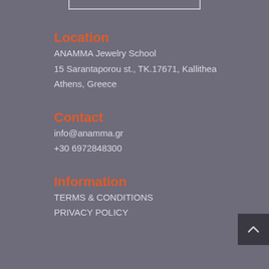Location
ANAMMA Jewelry School
15 Sarantaporou st., TK.17671, Kallithea
Athens, Greece
Contact
info@anamma.gr
+30 6972848300
Information
TERMS & CONDITIONS
PRIVACY POLICY